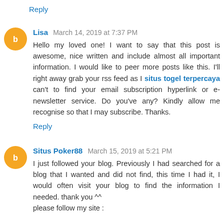Reply
Lisa March 14, 2019 at 7:37 PM
Hello my loved one! I want to say that this post is awesome, nice written and include almost all important information. I would like to peer more posts like this. I'll right away grab your rss feed as I situs togel terpercaya can't to find your email subscription hyperlink or e-newsletter service. Do you've any? Kindly allow me recognise so that I may subscribe. Thanks.
Reply
Situs Poker88 March 15, 2019 at 5:21 PM
I just followed your blog. Previously I had searched for a blog that I wanted and did not find, this time I had it, I would often visit your blog to find the information I needed. thank you ^^
please follow my site :